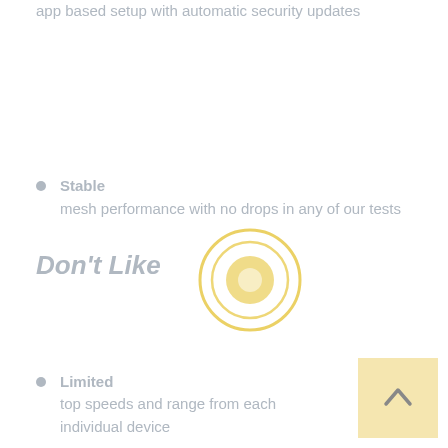app based setup with automatic security updates
Stable mesh performance with no drops in any of our tests
Don't Like
[Figure (illustration): Circular target/record icon with concentric rings in golden/yellow color]
Limited top speeds and range from each individual device